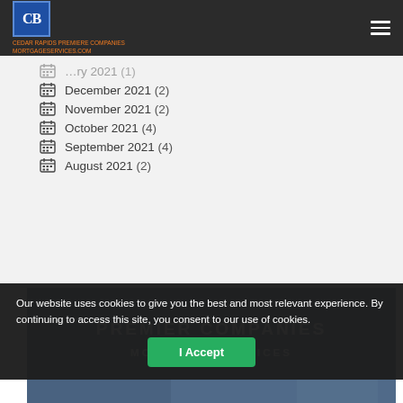CB Premier Companies Mortgage Services logo header
December 2021 (2)
November 2021 (2)
October 2021 (4)
September 2021 (4)
August 2021 (2)
[Figure (photo): Banner image with text PREMIER COMPANIES MORTGAGE SERVICES and evergreen logo, showing people in background]
Our website uses cookies to give you the best and most relevant experience. By continuing to access this site, you consent to our use of cookies.
I Accept